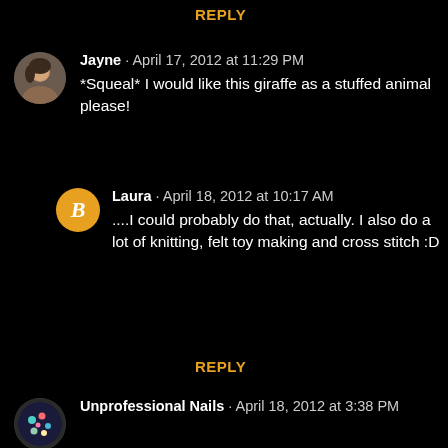REPLY
Jayne · April 17, 2012 at 11:29 PM
*Squeal* I would like this giraffe as a stuffed animal please!
Laura · April 18, 2012 at 10:17 AM
....I could probably do that, actually. I also do a lot of knitting, felt toy making and cross stitch :D
REPLY
Unprofessional Nails · April 18, 2012 at 3:38 PM
I think this is my favorite mani you've ever done!
REPLY
Sincerely Stephanie · April 26, 2012 at 6:05 AM